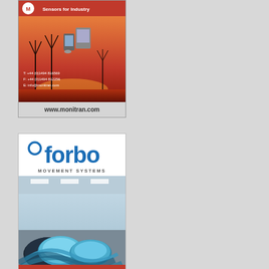[Figure (illustration): Monitran advertisement: company logo with 'Sensors for Industry' tagline, red background with wind turbine imagery and sensor devices, contact details T: +44 (0)1494 816569 F: +44 (0)1494 812256 E: info@monitran.com, website www.monitran.com]
[Figure (illustration): Forbo Movement Systems advertisement: Forbo logo in blue, MOVEMENT SYSTEMS subtitle, product image showing blue conveyor belts/industrial belts rolled up in a warehouse setting]